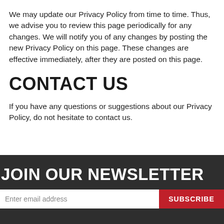We may update our Privacy Policy from time to time. Thus, we advise you to review this page periodically for any changes. We will notify you of any changes by posting the new Privacy Policy on this page. These changes are effective immediately, after they are posted on this page.
CONTACT US
If you have any questions or suggestions about our Privacy Policy, do not hesitate to contact us.
JOIN OUR NEWSLETTER